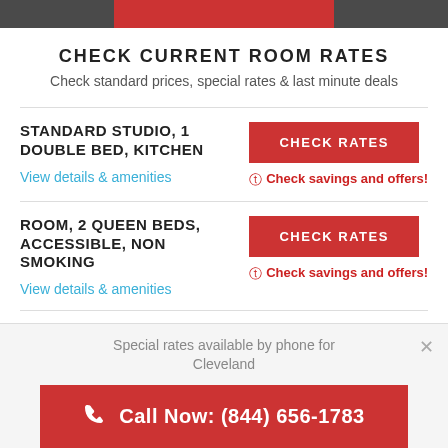CHECK CURRENT ROOM RATES
Check standard prices, special rates & last minute deals
STANDARD STUDIO, 1 DOUBLE BED, KITCHEN
View details & amenities
CHECK RATES
Check savings and offers!
ROOM, 2 QUEEN BEDS, ACCESSIBLE, NON SMOKING
View details & amenities
CHECK RATES
Check savings and offers!
ROOM, 2 DOUBLE BEDS,
Special rates available by phone for Cleveland
Call Now: (844) 656-1783